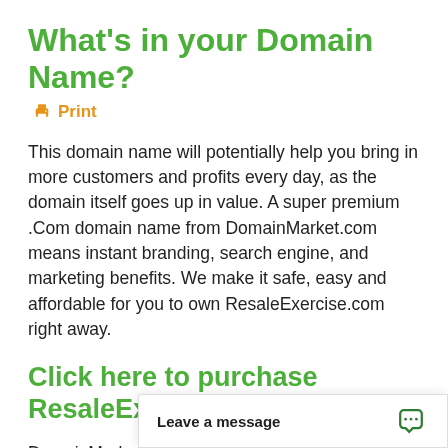What's in your Domain Name?
🖨 Print
This domain name will potentially help you bring in more customers and profits every day, as the domain itself goes up in value. A super premium .Com domain name from DomainMarket.com means instant branding, search engine, and marketing benefits. We make it safe, easy and affordable for you to own ResaleExercise.com right away.
Click here to purchase ResaleExercise.com
DomainMarket.com domains are carefully selected for branding excellence by the world's top domain name appraisers, so y...